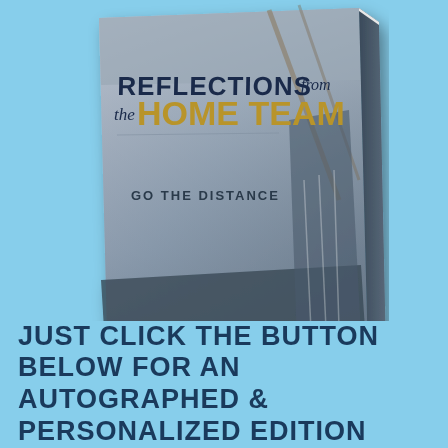[Figure (photo): A 3D book cover for 'Reflections from the Home Team: Go the Distance' by David Welter. The cover shows a misty baseball stadium scene with a baseball player holding a bat, wearing a pinstripe uniform. The title 'REFLECTIONS from the HOME TEAM' is displayed in large bold text with gold and navy colors, 'GO THE DISTANCE' appears as a subtitle, and 'David Welter' is the author name at the bottom.]
JUST CLICK THE BUTTON BELOW FOR AN AUTOGRAPHED & PERSONALIZED EDITION